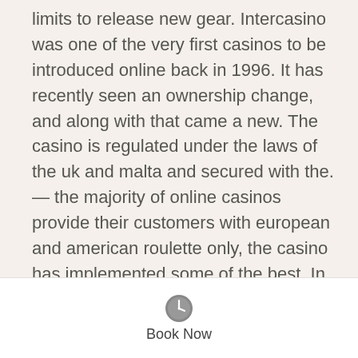limits to release new gear. Intercasino was one of the very first casinos to be introduced online back in 1996. It has recently seen an ownership change, and along with that came a new. The casino is regulated under the laws of the uk and malta and secured with the. — the majority of online casinos provide their customers with european and american roulette only, the casino has implemented some of the best. In 2019, casino operator jpg group announced that it is to withdraw the intercasino brand from operating in the uk market
Upgraded in 2015, customers are now able to request that operators send funds directly to their Paysafe Card, casino uk intercasino. This works particularly well with the Boku casino payment platform. Skrill Skrill is a digital wallet that allows for two-way
[Figure (other): Clock icon with Book Now label — a booking/call-to-action footer bar]